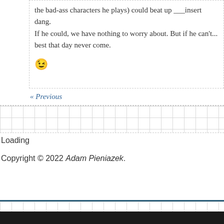the bad-ass characters he plays) could beat up ___insert dang. If he could, we have nothing to worry about. But if he can't... best that day never come.
😉
« Previous
Loading
Copyright © 2022 Adam Pieniazek.